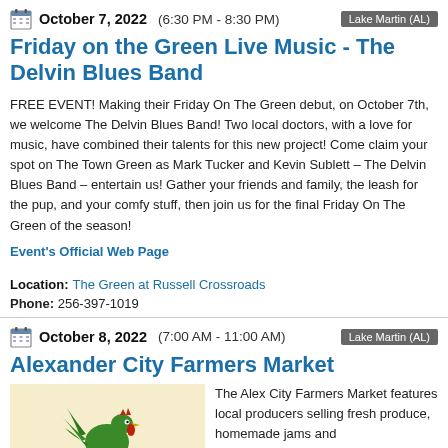October 7, 2022  (6:30 PM - 8:30 PM)   Lake Martin (AL)
Friday on the Green Live Music - The Delvin Blues Band
FREE EVENT! Making their Friday On The Green debut, on October 7th, we welcome The Delvin Blues Band! Two local doctors, with a love for music, have combined their talents for this new project! Come claim your spot on The Town Green as Mark Tucker and Kevin Sublett – The Delvin Blues Band – entertain us! Gather your friends and family, the leash for the pup, and your comfy stuff, then join us for the final Friday On The Green of the season!
Event's Official Web Page   Location: The Green at Russell Crossroads   Phone: 256-397-1019
October 8, 2022  (7:00 AM - 11:00 AM)   Lake Martin (AL)
Alexander City Farmers Market
[Figure (illustration): Rooster weathervane logo on beige/tan background for Alex City Farmers Market]
The Alex City Farmers Market features local producers selling fresh produce, homemade jams and